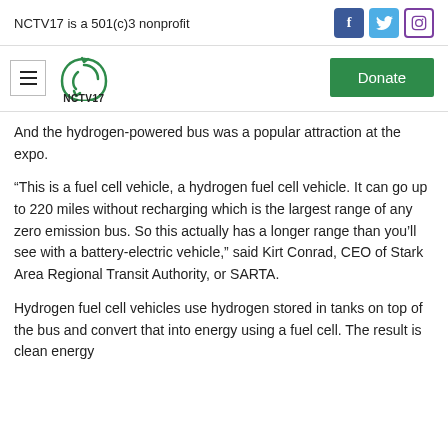NCTV17 is a 501(c)3 nonprofit
[Figure (logo): NCTV17 logo with green circular arrow design and hamburger menu icon, plus green Donate button]
And the hydrogen-powered bus was a popular attraction at the expo.
“This is a fuel cell vehicle, a hydrogen fuel cell vehicle. It can go up to 220 miles without recharging which is the largest range of any zero emission bus. So this actually has a longer range than you’ll see with a battery-electric vehicle,” said Kirt Conrad, CEO of Stark Area Regional Transit Authority, or SARTA.
Hydrogen fuel cell vehicles use hydrogen stored in tanks on top of the bus and convert that into energy using a fuel cell. The result is clean energy